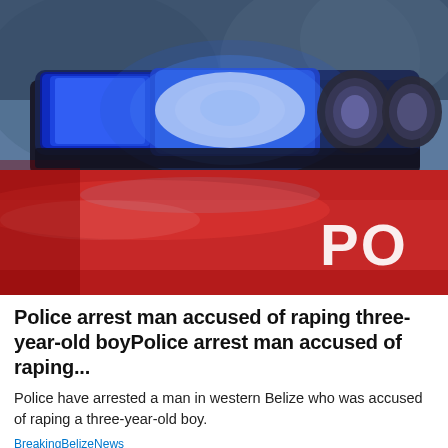[Figure (photo): Close-up of a police car roof with bright blue flashing emergency lights against a blurred background, showing the red car body with partial 'PO' text visible]
Police arrest man accused of raping three-year-old boyPolice arrest man accused of raping...
Police have arrested a man in western Belize who was accused of raping a three-year-old boy.
BreakingBelizeNews
[Figure (photo): Partial view of a white car with a red bow, shown in what appears to be a showroom or garage setting]